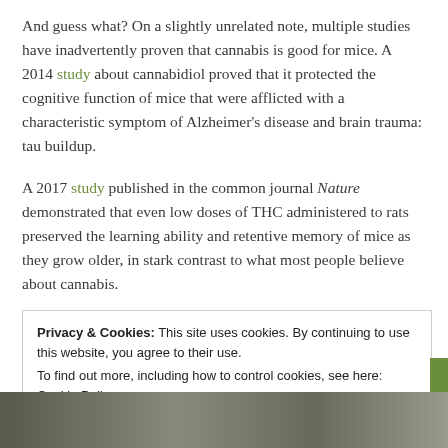And guess what? On a slightly unrelated note, multiple studies have inadvertently proven that cannabis is good for mice. A 2014 study about cannabidiol proved that it protected the cognitive function of mice that were afflicted with a characteristic symptom of Alzheimer's disease and brain trauma: tau buildup.
A 2017 study published in the common journal Nature demonstrated that even low doses of THC administered to rats preserved the learning ability and retentive memory of mice as they grow older, in stark contrast to what most people believe about cannabis.
Privacy & Cookies: This site uses cookies. By continuing to use this website, you agree to their use.
To find out more, including how to control cookies, see here: Cookie Policy
Close and accept
[Figure (photo): Photo strip at bottom of page showing animals or cannabis-related imagery]